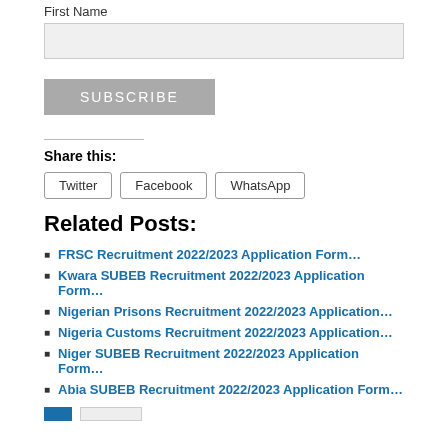First Name
[text input field]
SUBSCRIBE
Share this:
Twitter | Facebook | WhatsApp
Related Posts:
FRSC Recruitment 2022/2023 Application Form…
Kwara SUBEB Recruitment 2022/2023 Application Form…
Nigerian Prisons Recruitment 2022/2023 Application…
Nigeria Customs Recruitment 2022/2023 Application…
Niger SUBEB Recruitment 2022/2023 Application Form…
Abia SUBEB Recruitment 2022/2023 Application Form…